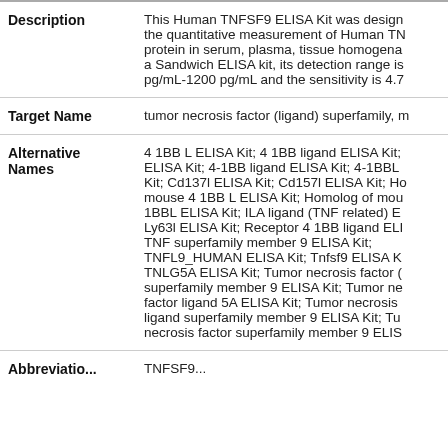| Field | Value |
| --- | --- |
| Description | This Human TNFSF9 ELISA Kit was designed for the quantitative measurement of Human TNFSF9 protein in serum, plasma, tissue homogenate. As a Sandwich ELISA kit, its detection range is pg/mL-1200 pg/mL and the sensitivity is 4.7... |
| Target Name | tumor necrosis factor (ligand) superfamily, m... |
| Alternative Names | 4 1BB L ELISA Kit; 4 1BB ligand ELISA Kit; ELISA Kit; 4-1BB ligand ELISA Kit; 4-1BBL Kit; Cd137l ELISA Kit; Cd157l ELISA Kit; Homolog of mouse 4 1BB L ELISA Kit; Homolog of mouse 1BBL ELISA Kit; ILA ligand (TNF related) E Ly63l ELISA Kit; Receptor 4 1BB ligand ELI TNF superfamily member 9 ELISA Kit; TNFL9_HUMAN ELISA Kit; Tnfsf9 ELISA K TNLG5A ELISA Kit; Tumor necrosis factor ( superfamily member 9 ELISA Kit; Tumor ne factor ligand 5A ELISA Kit; Tumor necrosis ligand superfamily member 9 ELISA Kit; Tu necrosis factor superfamily member 9 ELIS |
| Abbreviatio... | TNFSF9... |